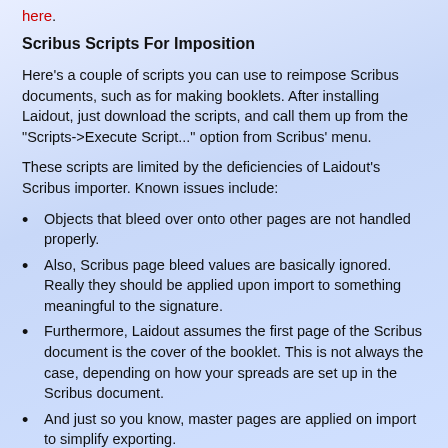here.
Scribus Scripts For Imposition
Here's a couple of scripts you can use to reimpose Scribus documents, such as for making booklets. After installing Laidout, just download the scripts, and call them up from the "Scripts->Execute Script..." option from Scribus' menu.
These scripts are limited by the deficiencies of Laidout's Scribus importer. Known issues include:
Objects that bleed over onto other pages are not handled properly.
Also, Scribus page bleed values are basically ignored. Really they should be applied upon import to something meaningful to the signature.
Furthermore, Laidout assumes the first page of the Scribus document is the cover of the booklet. This is not always the case, depending on how your spreads are set up in the Scribus document.
And just so you know, master pages are applied on import to simplify exporting.